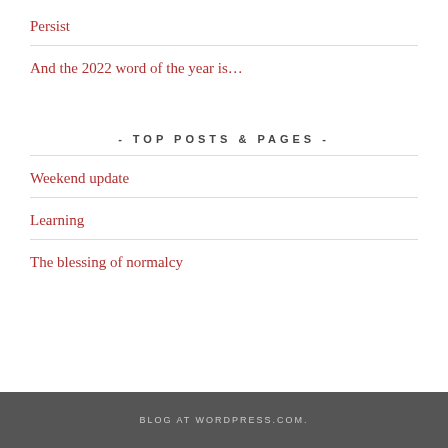Persist
And the 2022 word of the year is…
- TOP POSTS & PAGES -
Weekend update
Learning
The blessing of normalcy
BLOG AT WORDPRESS.COM.